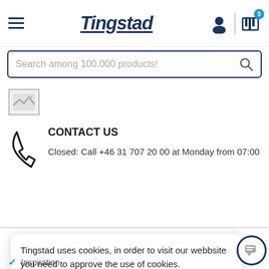Tingstad
Search among 100.000 products!
[Figure (illustration): Small image placeholder thumbnail]
CONTACT US
Closed: Call +46 31 707 20 00 at Monday from 07:00
Tingstad uses cookies, in order to visit our webbsite you need to approve the use of cookies.
About Cookies
OK
Inspiration